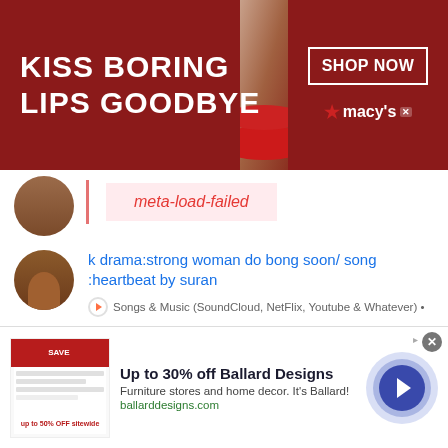[Figure (screenshot): Macy's advertisement banner: 'KISS BORING LIPS GOODBYE' with woman's face and red lips, SHOP NOW button, Macy's logo with star]
meta-load-failed
k drama:strong woman do bong soon/ song :heartbeat by suran — Songs & Music (SoundCloud, NetFlix, Youtube & Whatever) •
Any K-Pop or K-Drama fan here? — Songs & Music (SoundCloud, NetFlix, Youtube & Whatever) •
Looking for Hana from Kerala, I'm Haris from SL — India •
[Figure (screenshot): Ballard Designs advertisement: Up to 30% off Ballard Designs. Furniture stores and home decor. It's Ballard! ballarddesigns.com. With navigation arrow button.]